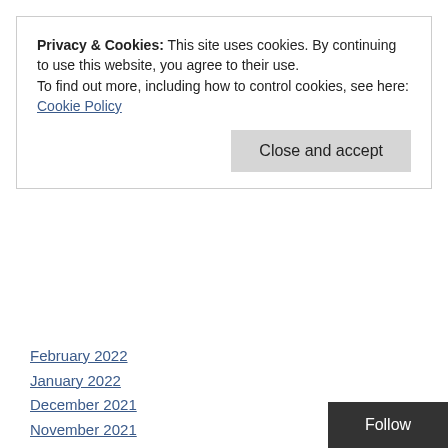Privacy & Cookies: This site uses cookies. By continuing to use this website, you agree to their use.
To find out more, including how to control cookies, see here: Cookie Policy
Close and accept
February 2022
January 2022
December 2021
November 2021
October 2021
September 2021
August 2021
July 2021
June 2021
May 2021
April 2021
March 2021
February 2021
Follow